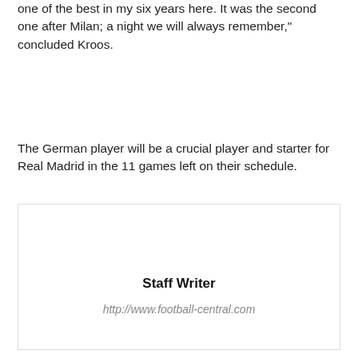one of the best in my six years here. It was the second one after Milan; a night we will always remember," concluded Kroos.
The German player will be a crucial player and starter for Real Madrid in the 11 games left on their schedule.
Staff Writer
http://www.football-central.com